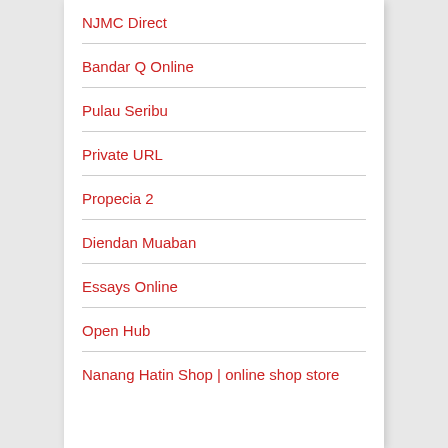NJMC Direct
Bandar Q Online
Pulau Seribu
Private URL
Propecia 2
Diendan Muaban
Essays Online
Open Hub
Nanang Hatin Shop | online shop store